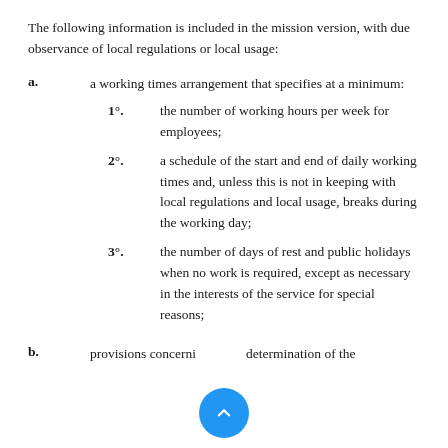The following information is included in the mission version, with due observance of local regulations or local usage:
a. a working times arrangement that specifies at a minimum:
1°. the number of working hours per week for employees;
2°. a schedule of the start and end of daily working times and, unless this is not in keeping with local regulations and local usage, breaks during the working day;
3°. the number of days of rest and public holidays when no work is required, except as necessary in the interests of the service for special reasons;
b. provisions concerning determination of the